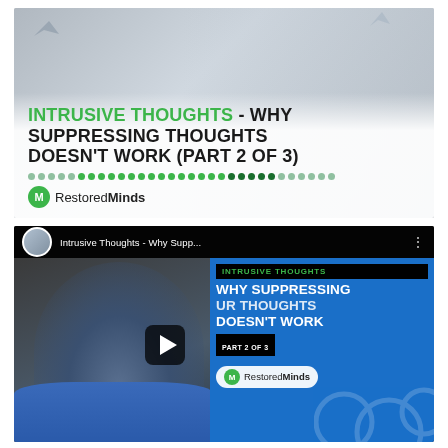[Figure (screenshot): Video thumbnail for 'Intrusive Thoughts - Why Suppressing Thoughts Doesn't Work (Part 2 of 3)' by RestoredMinds. Shows a man with hands raised against a light background with paper birds. Title text overlaid in green and dark bold font with a dotted separator line and the RestoredMinds logo.]
[Figure (screenshot): YouTube video player screenshot showing the same RestoredMinds video 'Intrusive Thoughts - Why Supp...' with a man in a blue shirt on the left, and on the right a dark blue panel with the text 'INTRUSIVE THOUGHTS / WHY SUPPRESSING / YOUR THOUGHTS / DOESN'T WORK / PART 2 OF 3' and the RestoredMinds logo. A play button is overlaid in the center.]